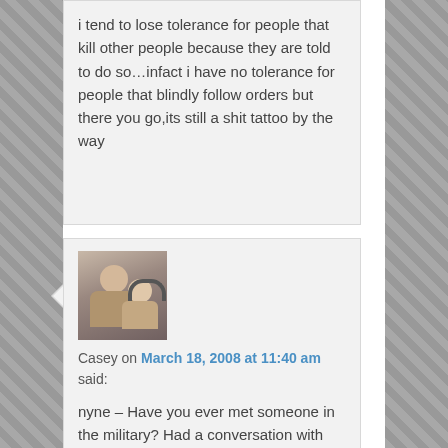i tend to lose tolerance for people that kill other people because they are told to do so…infact i have no tolerance for people that blindly follow orders but there you go,its still a shit tattoo by the way
[Figure (photo): Avatar photo of Casey — a woman with a baby wearing headphones]
Casey on March 18, 2008 at 11:40 am said:
nyne – Have you ever met someone in the military? Had a conversation with them? You'd find that 99.9% of people who joined the military